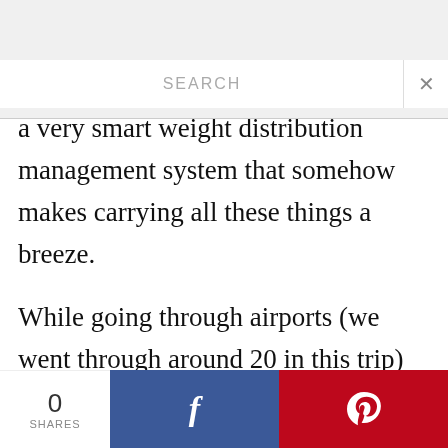a very smart weight distribution management system that somehow makes carrying all these things a breeze.
While going through airports (we went through around 20 in this trip) this was the one piece of garment that saved me hassles. Think 5 people and 5 passports, 5 boarding passes. All tucked away neatly in the inside pockets. Out in a jiffy.